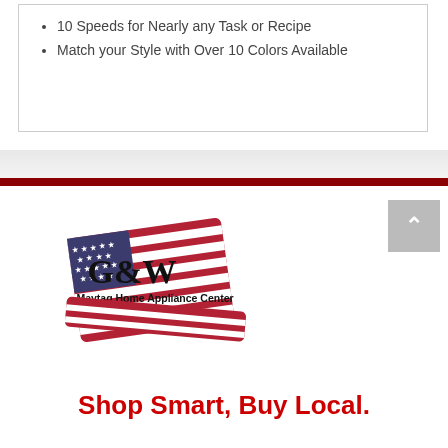10 Speeds for Nearly any Task or Recipe
Match your Style with Over 10 Colors Available
[Figure (logo): G&W Maytag Home Appliance Center logo with American flag background]
Shop Smart, Buy Local.